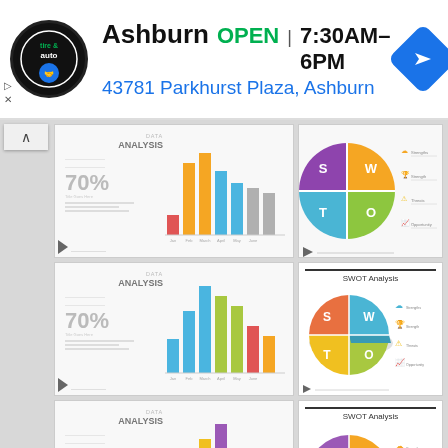[Figure (infographic): Ad banner: Tire & Auto logo, Ashburn OPEN 7:30AM-6PM, 43781 Parkhurst Plaza Ashburn, navigation arrow icon]
[Figure (infographic): Grid of 8 presentation slide thumbnails showing Data Analysis slides (bar charts, 70%, DATA ANALYSIS text) and SWOT Analysis slides (pie/donut charts with S/W/O/T labels and legend icons)]